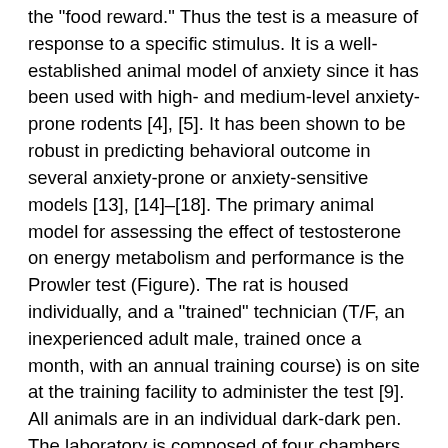the "food reward." Thus the test is a measure of response to a specific stimulus. It is a well-established animal model of anxiety since it has been used with high- and medium-level anxiety-prone rodents [4], [5]. It has been shown to be robust in predicting behavioral outcome in several anxiety-prone or anxiety-sensitive models [13], [14]–[18]. The primary animal model for assessing the effect of testosterone on energy metabolism and performance is the Prowler test (Figure). The rat is housed individually, and a "trained" technician (T/F, an inexperienced adult male, trained once a month, with an annual training course) is on site at the training facility to administer the test [9]. All animals are in an individual dark-dark pen. The laboratory is composed of four chambers (two for the Prowler test, and two for the Morris water maze) placed in separate, double-circuit rooms equipped with a sound system, two